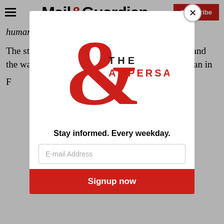Mail&Guardian | Subscribe
human scale would be absolutely mind-blowing.
The structures inform the beginnings of her own and the way she likes to build. "I do very much build an in...
[Figure (logo): The Ampersand newsletter logo — a large red ampersand with THE AMPERSAND text]
Stay informed. Every weekday.
E-mail Address
Signup now